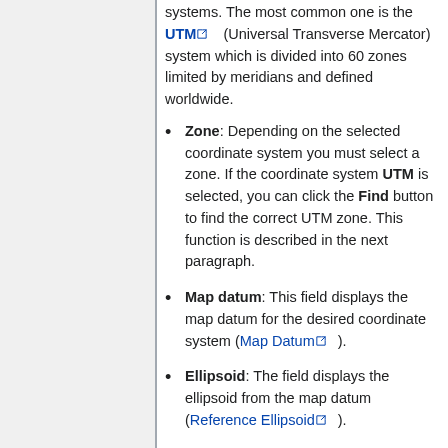systems. The most common one is the UTM (Universal Transverse Mercator) system which is divided into 60 zones limited by meridians and defined worldwide.
Zone: Depending on the selected coordinate system you must select a zone. If the coordinate system UTM is selected, you can click the Find button to find the correct UTM zone. This function is described in the next paragraph.
Map datum: This field displays the map datum for the desired coordinate system (Map Datum).
Ellipsoid: The field displays the ellipsoid from the map datum (Reference Ellipsoid).
Location: The field displays the location, where the coordinate...